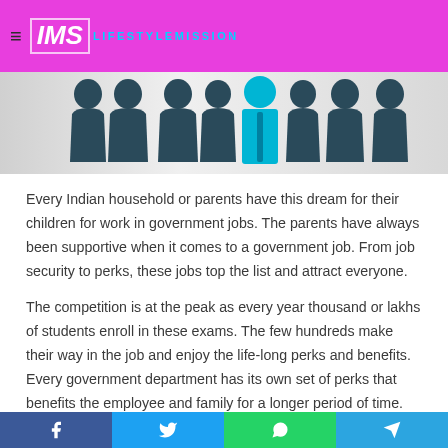IMS LIFESTYLEMISSION
[Figure (illustration): Row of dark silhouette human figures with one highlighted in blue/cyan in the center, representing people in a crowd or group, on a light gray gradient background.]
Every Indian household or parents have this dream for their children for work in government jobs. The parents have always been supportive when it comes to a government job. From job security to perks, these jobs top the list and attract everyone.
The competition is at the peak as every year thousand or lakhs of students enroll in these exams. The few hundreds make their way in the job and enjoy the life-long perks and benefits. Every government department has its own set of perks that benefits the employee and family for a longer period of time.
Facebook | Twitter | WhatsApp | Telegram